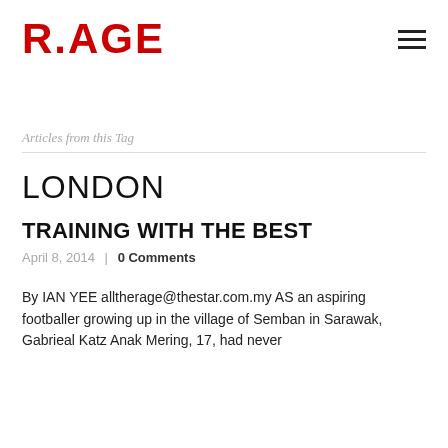R.AGE
Articles from this Tag
LONDON
TRAINING WITH THE BEST
April 8, 2014  |  0 Comments
By IAN YEE alltherage@thestar.com.my AS an aspiring footballer growing up in the village of Semban in Sarawak, Gabrieal Katz Anak Mering, 17, had never